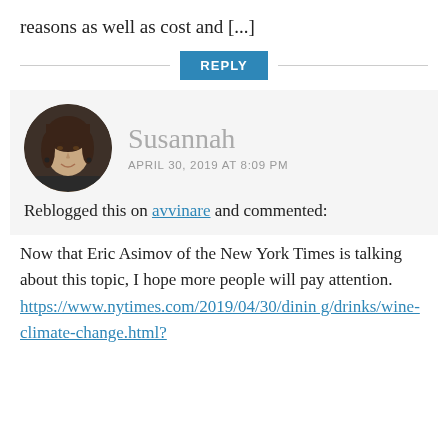reasons as well as cost and [...]
REPLY
[Figure (photo): Circular avatar photo of a woman named Susannah, smiling, with dark hair.]
Susannah
APRIL 30, 2019 AT 8:09 PM
Reblogged this on avvinare and commented:
Now that Eric Asimov of the New York Times is talking about this topic, I hope more people will pay attention. https://www.nytimes.com/2019/04/30/dining/drinks/wine-climate-change.html?